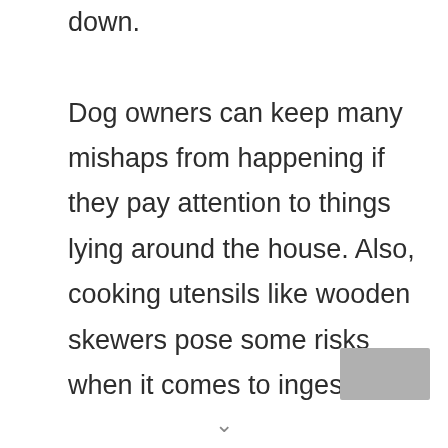down. Dog owners can keep many mishaps from happening if they pay attention to things lying around the house. Also, cooking utensils like wooden skewers pose some risks when it comes to ingestion.